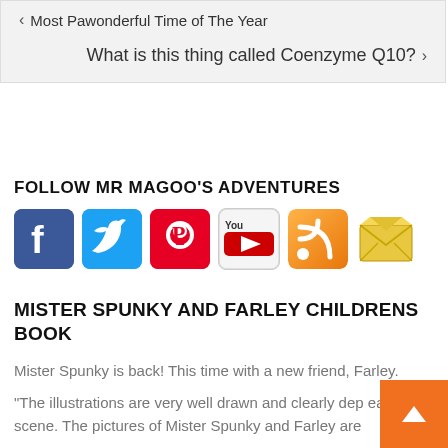< Most Pawonderful Time of The Year
What is this thing called Coenzyme Q10? >
FOLLOW MR MAGOO'S ADVENTURES
[Figure (infographic): Social media icons: Facebook, Twitter, Pinterest, YouTube, RSS, Email]
MISTER SPUNKY AND FARLEY CHILDRENS BOOK
Mister Spunky is back! This time with a new friend, Farley.
"The illustrations are very well drawn and clearly dep each scene. The pictures of Mister Spunky and Farley are